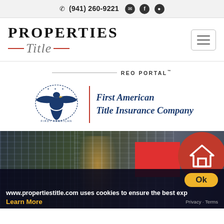(941) 260-9221
[Figure (logo): Properties Title logo with italic script and red dashes]
[Figure (logo): First American Title Insurance Company eagle logo with red vertical divider and italic blue text]
REO PORTAL™
[Figure (photo): City building nighttime photo strip with red overlay box and house icon circle]
www.propertiestitle.com uses cookies to ensure the best exp
Learn More
Privacy · Terms